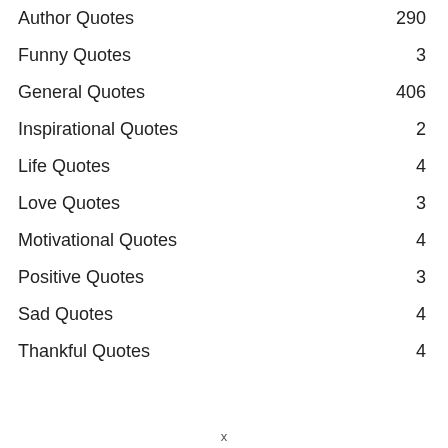| Category | Count |
| --- | --- |
| Author Quotes | 290 |
| Funny Quotes | 3 |
| General Quotes | 406 |
| Inspirational Quotes | 2 |
| Life Quotes | 4 |
| Love Quotes | 3 |
| Motivational Quotes | 4 |
| Positive Quotes | 3 |
| Sad Quotes | 4 |
| Thankful Quotes | 4 |
x